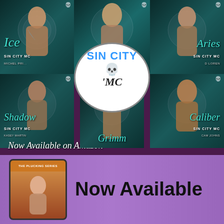[Figure (illustration): Collage of 5 book covers from the Sin City MC romance series: Ice (Michel Prince), Aries (D. Loren), Shadow (Kasey Martin), Grimm, and Caliber (Cam Johns), with a central Sin City MC logo oval overlay featuring a skull with crown]
Now Available on Amazon
[Figure (illustration): Tablet device mockup showing 'The Plucking Series' book cover with a person on the screen]
Now Available